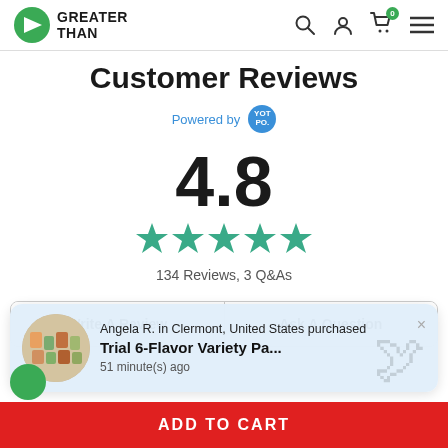GREATER THAN — navigation bar with logo, search, user, cart (0), menu icons
Customer Reviews
Powered by YOTPO
4.8
[Figure (other): 5 teal/green filled star rating icons]
134 Reviews, 3 Q&As
Write A Review
Ask A Question
Angela R. in Clermont, United States purchased
Trial 6-Flavor Variety Pa...
51 minute(s) ago
ADD TO CART